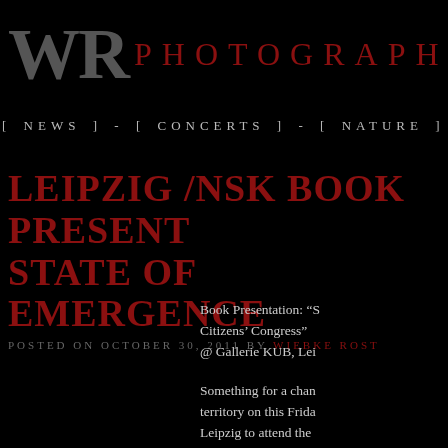WR PHOTOGRAPHY
[ NEWS ] - [ CONCERTS ] - [ NATURE ] - [ PLACE
LEIPZIG /NSK BOOK PRESENT STATE OF EMERGENCE
POSTED ON OCTOBER 30, 2011 BY WIEBKE ROST
Book Presentation: "S Citizens' Congress" @ Gallerie KUB, Lei
Something for a chan territory on this Frida Leipzig to attend the Emergence – The 1st
Ex ante, some years a